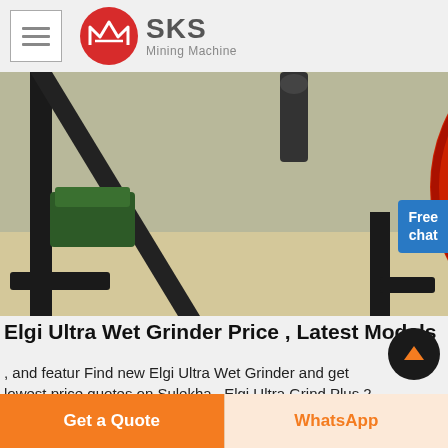SKS Mining Machine
[Figure (photo): Close-up photo of an industrial wet grinder machine showing a large red flywheel/pulley mechanism mounted on a black metal frame structure, with belt drive visible]
Elgi Ultra Wet Grinder Price , Latest Models
, and featur Find new Elgi Ultra Wet Grinder and get lowest price quotes on Sulekha , Elgi Ultra Grind Plus 2 Litr Table To, 40 1 Review(s) Price not.
Get a Quote
WhatsApp